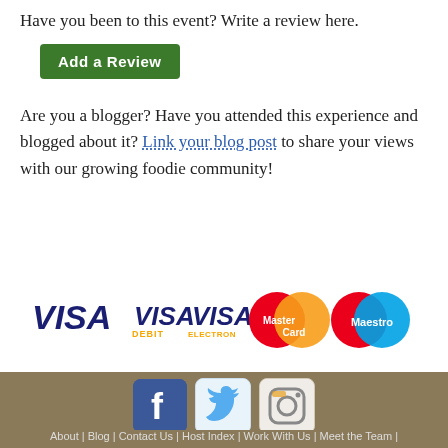Have you been to this event? Write a review here.
Add a Review
Are you a blogger? Have you attended this experience and blogged about it? Link your blog post to share your views with our growing foodie community!
[Figure (logo): Payment logos: VISA, VISA DEBIT, VISA ELECTRON, MasterCard, Maestro]
[Figure (logo): Social media icons: Facebook, Twitter, Instagram]
About | Blog | Contact Us | Host Index | Work With Us | Meet the Team |